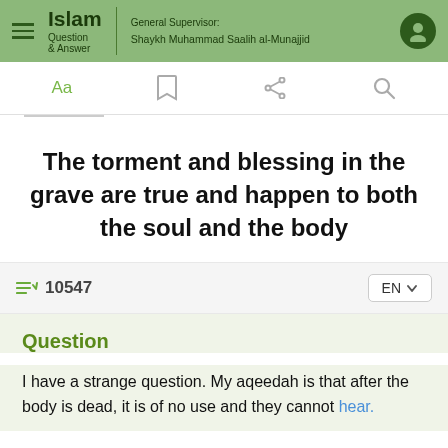Islam Question & Answer | General Supervisor: Shaykh Muhammad Saalih al-Munajjid
The torment and blessing in the grave are true and happen to both the soul and the body
10547   EN
Question
I have a strange question. My aqeedah is that after the body is dead, it is of no use and they cannot hear.